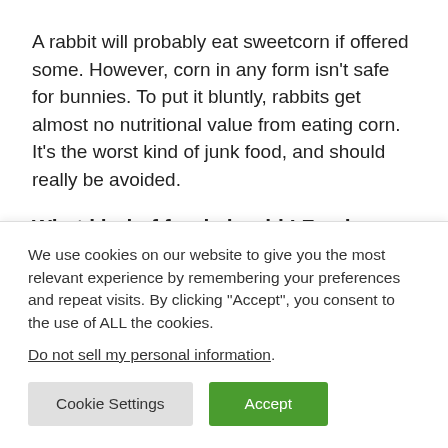A rabbit will probably eat sweetcorn if offered some. However, corn in any form isn't safe for bunnies. To put it bluntly, rabbits get almost no nutritional value from eating corn. It's the worst kind of junk food, and should really be avoided.
What kind of food should I Feed my Rabbit?
The main type of food a rabbit diet should consist...
We use cookies on our website to give you the most relevant experience by remembering your preferences and repeat visits. By clicking “Accept”, you consent to the use of ALL the cookies.
Do not sell my personal information.